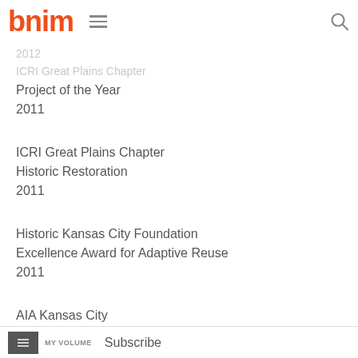bnim
2012
ICRI Great Plains Chapter
Project of the Year
2011
ICRI Great Plains Chapter
Historic Restoration
2011
Historic Kansas City Foundation
Excellence Award for Adaptive Reuse
2011
AIA Kansas City
MY VOLUME   Subscribe